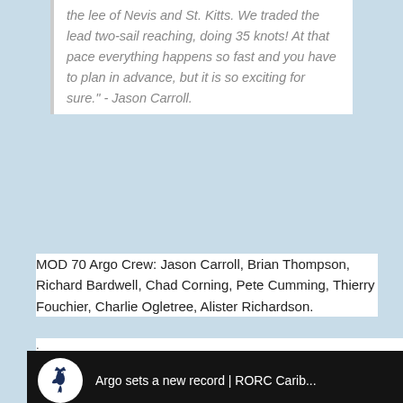the lee of Nevis and St. Kitts. We traded the lead two-sail reaching, doing 35 knots! At that pace everything happens so fast and you have to plan in advance, but it is so exciting for sure." - Jason Carroll.
MOD 70 Argo Crew: Jason Carroll, Brian Thompson, Richard Bardwell, Chad Corning, Pete Cumming, Thierry Fouchier, Charlie Ogletree, Alister Richardson.
[Figure (screenshot): YouTube video thumbnail showing 'Argo sets a new record | RORC Carib...' with RORC seahorse logo, text 'MULTIHULL LINE' in orange and 'MOD 70 AR' in white, with a YouTube play button overlay on a sailing image background.]